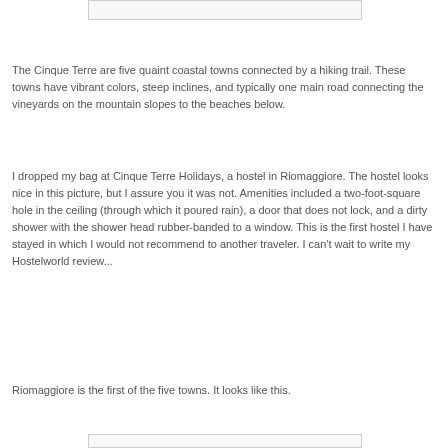[Figure (photo): Top edge of an image (partially visible at top of page)]
The Cinque Terre are five quaint coastal towns connected by a hiking trail. These towns have vibrant colors, steep inclines, and typically one main road connecting the vineyards on the mountain slopes to the beaches below.
I dropped my bag at Cinque Terre Holidays, a hostel in Riomaggiore. The hostel looks nice in this picture, but I assure you it was not. Amenities included a two-foot-square hole in the ceiling (through which it poured rain), a door that does not lock, and a dirty shower with the shower head rubber-banded to a window. This is the first hostel I have stayed in which I would not recommend to another traveler. I can't wait to write my Hostelworld review...
Riomaggiore is the first of the five towns. It looks like this.
[Figure (photo): Bottom edge of an image (partially visible at bottom of page)]